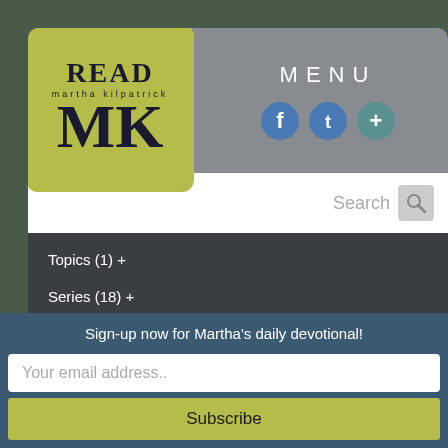[Figure (logo): READ martha kilpatrick MK logo on olive/yellow-green square background]
MENU
[Figure (infographic): Social media icons: Facebook, Twitter, and a plus/add icon in teal circles]
Search
Topics (1) +
Series (18) +
Browse by Month +
[Figure (photo): Abstract reddish-brown textured painting/art image]
#74 They Needed Only to Know HIM
Posted: Tuesday, April 6th
Sign-up now for Martha's daily devotional!
Your email address..
Subscribe